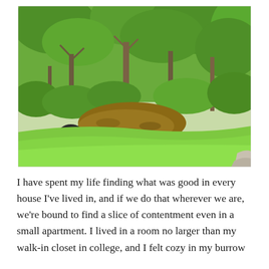[Figure (photo): Outdoor photograph of a wooded backyard scene. Lush green trees and bushes fill the background. In the foreground, a well-manicured green lawn slopes gently toward a wooded area with exposed dirt and leaf litter. A stone or concrete path is partially visible in the bottom-right corner. The overall scene is vibrant green, suggesting late spring or early summer.]
I have spent my life finding what was good in every house I've lived in, and if we do that wherever we are, we're bound to find a slice of contentment even in a small apartment. I lived in a room no larger than my walk-in closet in college, and I felt cozy in my burrow